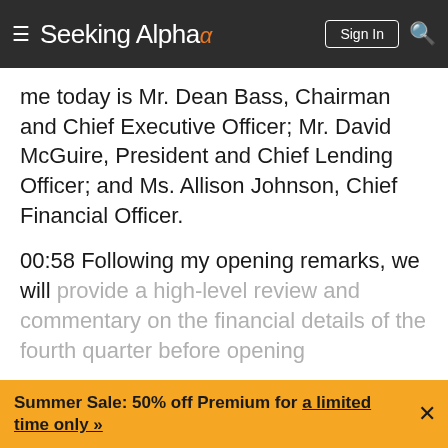Seeking Alpha
me today is Mr. Dean Bass, Chairman and Chief Executive Officer; Mr. David McGuire, President and Chief Lending Officer; and Ms. Allison Johnson, Chief Financial Officer.
00:58 Following my opening remarks, we will provide a high-level review and commentary on the financial details of the fourth quarter before opening
Continue Reading
Get alerts on
Summer Sale: 50% off Premium for a limited time only »